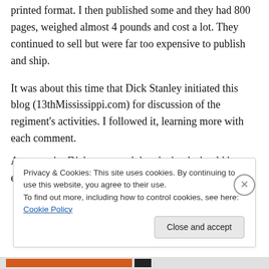printed format. I then published some and they had 800 pages, weighed almost 4 pounds and cost a lot. They continued to sell but were far too expensive to publish and ship.
It was about this time that Dick Stanley initiated this blog (13thMississippi.com) for discussion of the regiment's activities. I followed it, learning more with each comment.
At one point Dick suggested that the book should be re-edited and reduced in size. I
Privacy & Cookies: This site uses cookies. By continuing to use this website, you agree to their use.
To find out more, including how to control cookies, see here: Cookie Policy
Close and accept